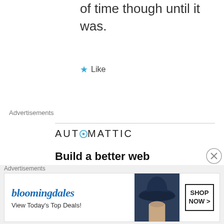of time though until it was.
Like
Advertisements
[Figure (logo): Automattic logo with circular 'O' in AUTOMATTIC text]
Build a better web and a better world.
Advertisements
[Figure (screenshot): Bloomingdales advertisement banner: logo, 'View Today's Top Deals!', woman with hat image, SHOP NOW button]